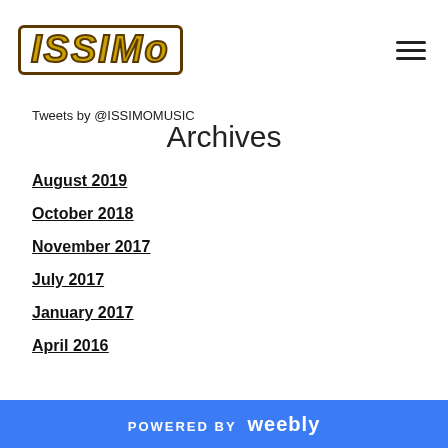ISSIMO logo and navigation menu
Tweets by @ISSIMOMUSIC
Archives
August 2019
October 2018
November 2017
July 2017
January 2017
April 2016
March 2016
February 2016
September 2015
July 2015
June 2015
POWERED BY weebly